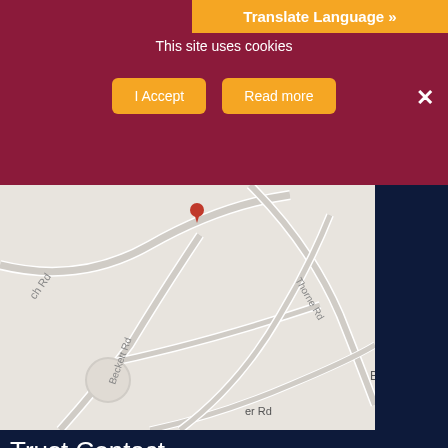Translate Language »
This site uses cookies
I Accept | Read more
[Figure (map): Google Maps view showing roads including Beckett Rd, Thorne Rd, with a location pin marked. Shows businesses jds pres and det and Buma Limited.]
Trust Contact
[Figure (logo): Astrea Academy Trust logo]
Visit: www.astreaacedemytrust.org
Email: info@astreaacademytrust.org
Tel: 0114 478 3830